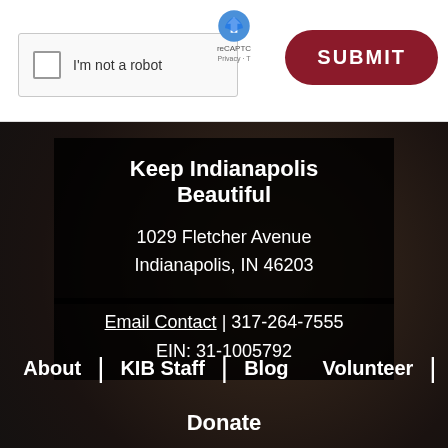[Figure (screenshot): reCAPTCHA 'I'm not a robot' checkbox widget and a SUBMIT button on a white form background]
Keep Indianapolis Beautiful
1029 Fletcher Avenue
Indianapolis, IN 46203
Email Contact | 317-264-7555
EIN: 31-1005792
About
KIB Staff
Blog
Volunteer
Donate